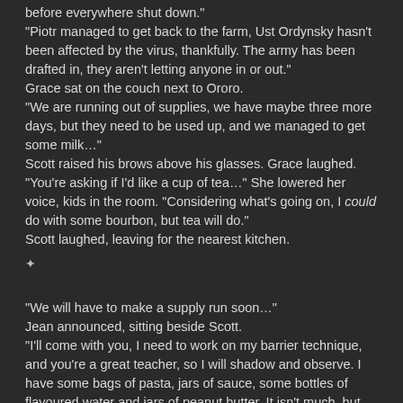before everywhere shut down."
"Piotr managed to get back to the farm, Ust Ordynsky hasn't been affected by the virus, thankfully. The army has been drafted in, they aren't letting anyone in or out."
Grace sat on the couch next to Ororo.
"We are running out of supplies, we have maybe three more days, but they need to be used up, and we managed to get some milk…"
Scott raised his brows above his glasses. Grace laughed.
"You're asking if I'd like a cup of tea…" She lowered her voice, kids in the room. "Considering what's going on, I could do with some bourbon, but tea will do."
Scott laughed, leaving for the nearest kitchen.
✦
"We will have to make a supply run soon…"
Jean announced, sitting beside Scott.
"I'll come with you, I need to work on my barrier technique, and you're a great teacher, so I will shadow and observe. I have some bags of pasta, jars of sauce, some bottles of flavoured water and jars of peanut butter. It isn't much, but it'll last for a few days."